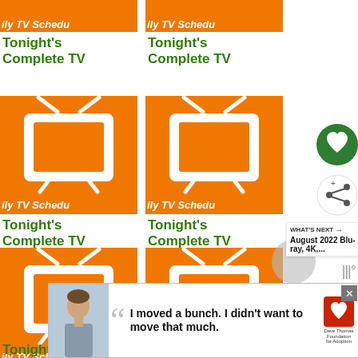[Figure (screenshot): Grid of daily TV schedule cards showing orange thumbnails with white TV icons and text 'Tonight's Complete TV' in green, repeated in a 2-column grid layout]
[Figure (screenshot): Floating action buttons on the right: green heart button and white share button]
[Figure (screenshot): What's Next panel showing 'August 2022 Blu-ray, 4K,...']
[Figure (screenshot): Advertisement banner at the bottom: Dave Thomas Foundation for Adoption ad with a teenager and quote 'I moved a bunch. I didn't want to move that much.']